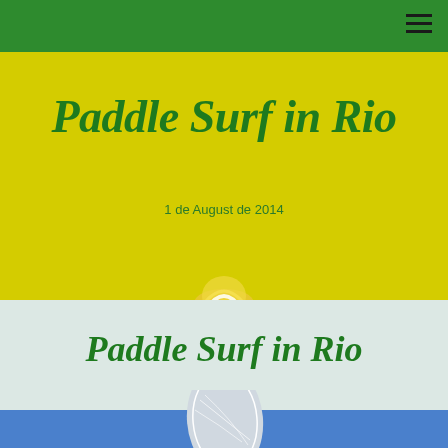Paddle Surf in Rio
1 de August de 2014
[Figure (illustration): Decorative yellow oval/boomerang shape at the border between yellow and light sections]
Paddle Surf in Rio
[Figure (illustration): Surfboard illustration against blue sky background, partially visible at bottom of page]